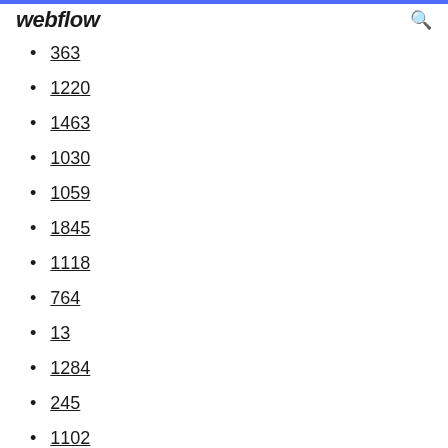webflow
363
1220
1463
1030
1059
1845
1118
764
13
1284
245
1102
142